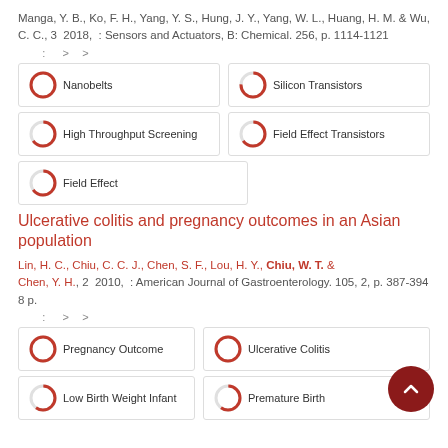Manga, Y. B., Ko, F. H., Yang, Y. S., Hung, J. Y., Yang, W. L., Huang, H. M. & Wu, C. C., 3  2018,  : Sensors and Actuators, B: Chemical. 256, p. 1114-1121
· › ›
[Figure (infographic): Keyword badges with donut-style percentage icons: Nanobelts (100%), Silicon Transistors (~75%), High Throughput Screening (~65%), Field Effect Transistors (~65%), Field Effect (~65%)]
Ulcerative colitis and pregnancy outcomes in an Asian population
Lin, H. C., Chiu, C. C. J., Chen, S. F., Lou, H. Y., Chiu, W. T. & Chen, Y. H., 2  2010,  : American Journal of Gastroenterology. 105, 2, p. 387-394 8 p.
· › ›
[Figure (infographic): Keyword badges with donut-style percentage icons: Pregnancy Outcome (100%), Ulcerative Colitis (100%), Low Birth Weight Infant (~60%), Premature Birth (~60%)]